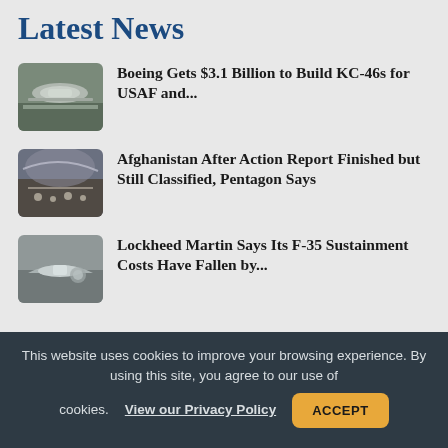Latest News
Boeing Gets $3.1 Billion to Build KC-46s for USAF and...
Afghanistan After Action Report Finished but Still Classified, Pentagon Says
Lockheed Martin Says Its F-35 Sustainment Costs Have Fallen by...
This website uses cookies to improve your browsing experience. By using this site, you agree to our use of cookies. View our Privacy Policy ACCEPT